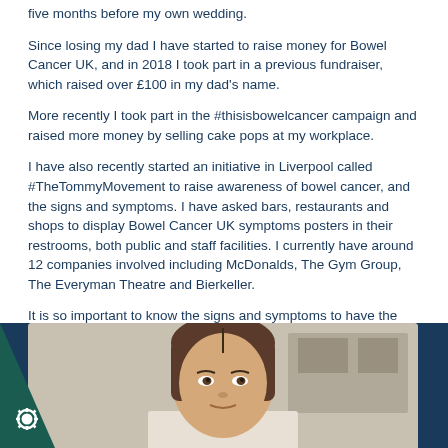five months before my own wedding.
Since losing my dad I have started to raise money for Bowel Cancer UK, and in 2018 I took part in a previous fundraiser, which raised over £100 in my dad’s name.
More recently I took part in the #thisisbowelcancer campaign and raised more money by selling cake pops at my workplace.
I have also recently started an initiative in Liverpool called #TheTommyMovement to raise awareness of bowel cancer, and the signs and symptoms. I have asked bars, restaurants and shops to display Bowel Cancer UK symptoms posters in their restrooms, both public and staff facilities. I currently have around 12 companies involved including McDonalds, The Gym Group, The Everyman Theatre and Bierkeller.
It is so important to know the signs and symptoms to have the very best opportunity for an early diagnosis.
More about Brew Together
[Figure (photo): Woman with dark hair looking at camera, partial face visible, bottom of page]